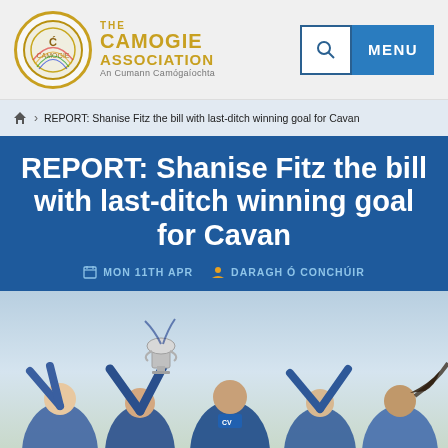The Camogie Association — An Cumann Camógaíochta
REPORT: Shanise Fitz the bill with last-ditch winning goal for Cavan
REPORT: Shanise Fitz the bill with last-ditch winning goal for Cavan
MON 11TH APR  DARAGH Ó CONCHÚIR
[Figure (photo): Athletes celebrating with a trophy raised in the air, wearing blue and white jerseys, outdoors]